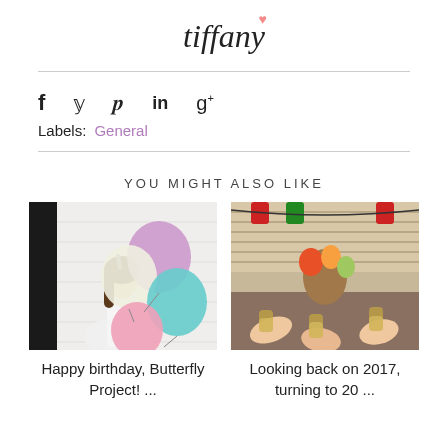tiffany
f  y  p  in  g+
Labels: General
YOU MIGHT ALSO LIKE
[Figure (photo): Girl holding colorful balloons (birthday party scene)]
Happy birthday, Butterfly Project! ...
[Figure (photo): People toasting glasses at a decorated holiday dinner table]
Looking back on 2017, turning to 20 ...